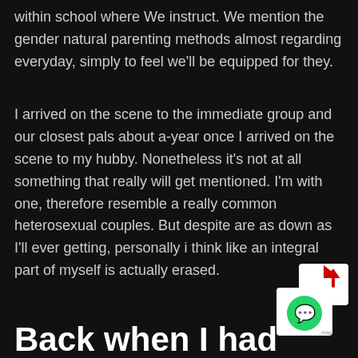within school where We instruct. We mention the gender natural parenting methods almost regarding everyday, simply to feel we'll be equipped for they.
I arrived on the scene to the immediate group and our closest pals about a-year once I arrived on the scene to my hubby. Nonetheless it’s not at all something that really will get mentioned. I’m with one, therefore resemble a really common heterosexual couples. But despite are as down as I’ll ever getting, personally i think like an integral part of myself is actually erased.
[Figure (logo): WhatsApp logo with upward arrow share icon]
Back when I had